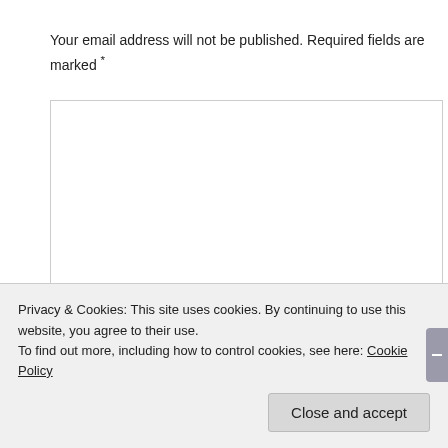Your email address will not be published. Required fields are marked *
[Figure (other): Large empty text area input box for comment entry with resize handle at bottom right]
Name *
Email *
Privacy & Cookies: This site uses cookies. By continuing to use this website, you agree to their use.
To find out more, including how to control cookies, see here: Cookie Policy
Close and accept